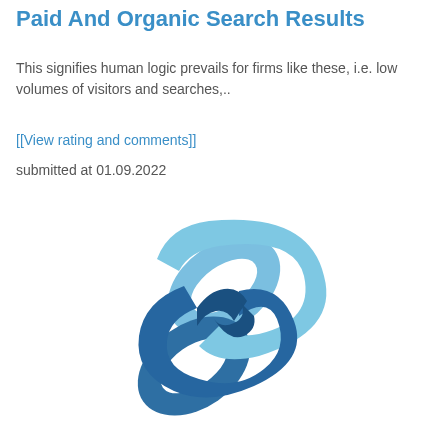Paid And Organic Search Results
This signifies human logic prevails for firms like these, i.e. low volumes of visitors and searches,..
[[View rating and comments]]
submitted at 01.09.2022
[Figure (illustration): A chain link icon with two interlocked oval links rendered in shades of blue (light blue and dark steel blue).]